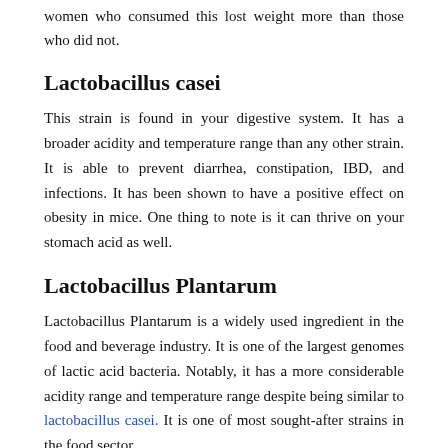women who consumed this lost weight more than those who did not.
Lactobacillus casei
This strain is found in your digestive system. It has a broader acidity and temperature range than any other strain. It is able to prevent diarrhea, constipation, IBD, and infections. It has been shown to have a positive effect on obesity in mice. One thing to note is it can thrive on your stomach acid as well.
Lactobacillus Plantarum
Lactobacillus Plantarum is a widely used ingredient in the food and beverage industry. It is one of the largest genomes of lactic acid bacteria. Notably, it has a more considerable acidity range and temperature range despite being similar to lactobacillus casei. It is one of most sought-after strains in the food sector.